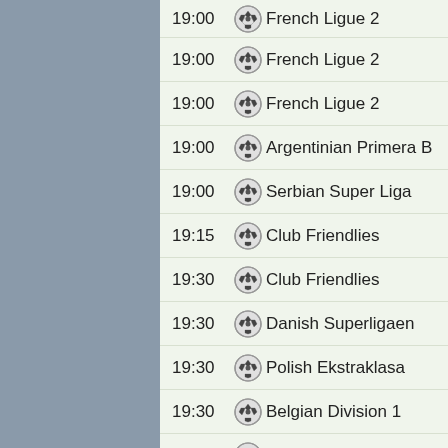19:00 French Ligue 2
19:00 French Ligue 2
19:00 French Ligue 2
19:00 Argentinian Primera B
19:00 Serbian Super Liga
19:15 Club Friendlies
19:30 Club Friendlies
19:30 Danish Superligaen
19:30 Polish Ekstraklasa
19:30 Belgian Division 1